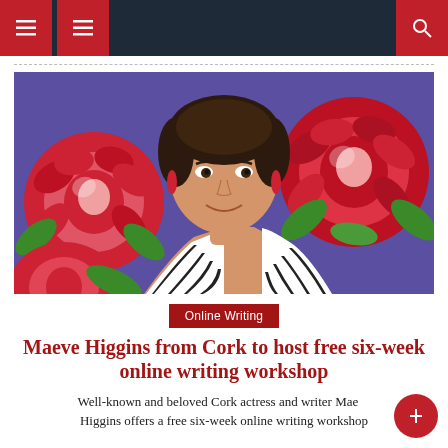Navigation bar with hamburger menu and search icon
[Figure (photo): Smiling woman with short dark hair wearing a black-and-white striped top, posed in front of a colorful floral background with large red roses and green leaves on a blue/purple backdrop.]
Online Writing
Maeve Higgins from Cork to host free six-week online writing workshop
Well-known and beloved Cork actress and writer Maeve Higgins offers a free six-week online writing workshop